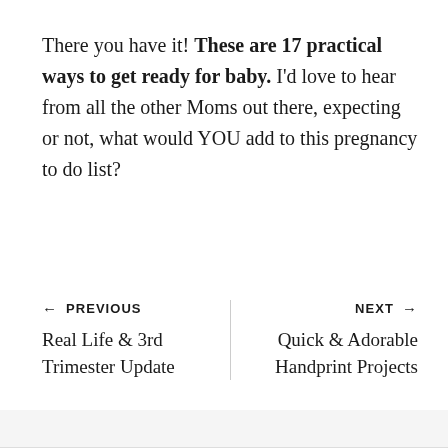There you have it! These are 17 practical ways to get ready for baby. I'd love to hear from all the other Moms out there, expecting or not, what would YOU add to this pregnancy to do list?
← PREVIOUS
Real Life & 3rd Trimester Update
NEXT →
Quick & Adorable Handprint Projects